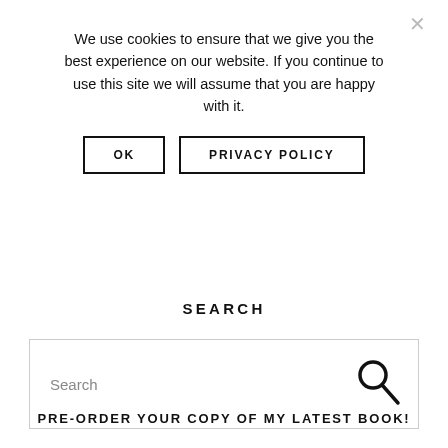We use cookies to ensure that we give you the best experience on our website. If you continue to use this site we will assume that you are happy with it.
OK
PRIVACY POLICY
SEARCH
Search
PRE-ORDER YOUR COPY OF MY LATEST BOOK!